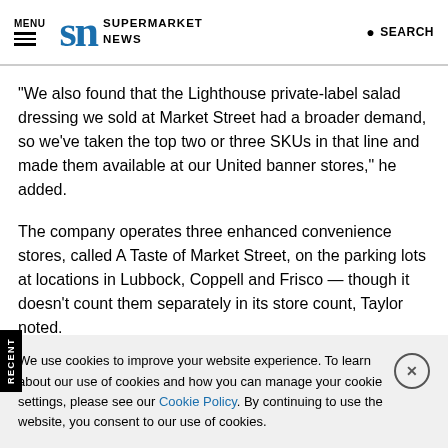MENU | SN SUPERMARKET NEWS | SEARCH
“We also found that the Lighthouse private-label salad dressing we sold at Market Street had a broader demand, so we’ve taken the top two or three SKUs in that line and made them available at our United banner stores,” he added.
The company operates three enhanced convenience stores, called A Taste of Market Street, on the parking lots at locations in Lubbock, Coppell and Frisco — though it doesn’t count them separately in its store count, Taylor noted.
RECENT
We use cookies to improve your website experience. To learn about our use of cookies and how you can manage your cookie settings, please see our Cookie Policy. By continuing to use the website, you consent to our use of cookies.